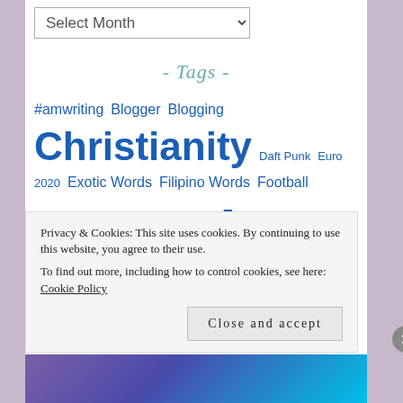Select Month (dropdown)
- Tags -
#amwriting Blogger Blogging Christianity Daft Punk Euro 2020 Exotic Words Filipino Words Football France God Jesus Christ Karim Benzema Les Bleus Life Love Meditation Scripture Focus Spiritual Walk
Privacy & Cookies: This site uses cookies. By continuing to use this website, you agree to their use.
To find out more, including how to control cookies, see here: Cookie Policy
Close and accept